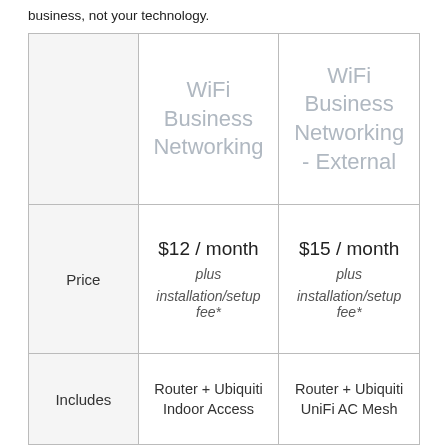business, not your technology.
|  | WiFi Business Networking | WiFi Business Networking - External |
| --- | --- | --- |
| Price | $12 / month
plus
installation/setup
fee* | $15 / month
plus
installation/setup
fee* |
| Includes | Router + Ubiquiti Indoor Access | Router + Ubiquiti UniFi AC Mesh |